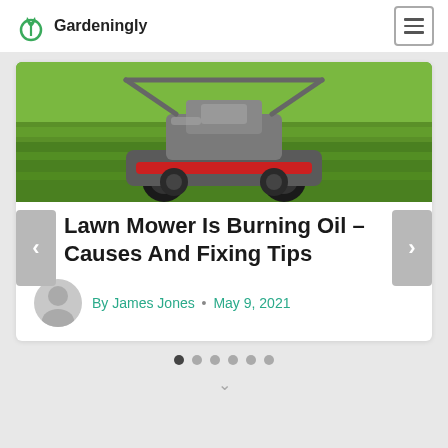Gardeningly
[Figure (photo): Lawn mower on green grass, viewed from behind]
Lawn Mower Is Burning Oil – Causes And Fixing Tips
By James Jones • May 9, 2021